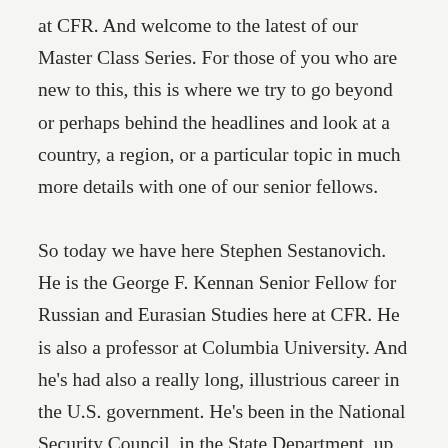at CFR. And welcome to the latest of our Master Class Series. For those of you who are new to this, this is where we try to go beyond or perhaps behind the headlines and look at a country, a region, or a particular topic in much more details with one of our senior fellows.
So today we have here Stephen Sestanovich. He is the George F. Kennan Senior Fellow for Russian and Eurasian Studies here at CFR. He is also a professor at Columbia University. And he's had also a really long, illustrious career in the U.S. government. He's been in the National Security Council, in the State Department, up on the Hill in the Senate. So he's been a practitioner of foreign policy. He's now a scholar and thinker about foreign policy. And he's